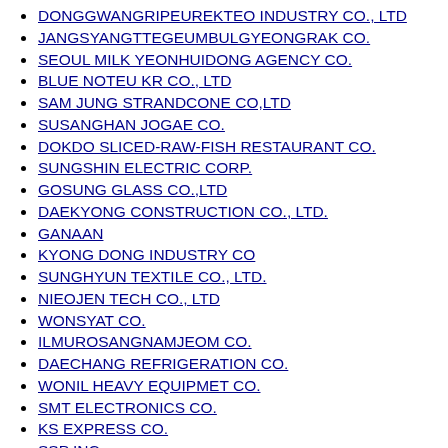DONGGWANGRIPEUREKTEO INDUSTRY CO., LTD
JANGSYANGTTEGEUMBULGYEONGRAK CO.
SEOUL MILK YEONHUIDONG AGENCY CO.
BLUE NOTEU KR CO., LTD
SAM JUNG STRANDCONE CO,LTD
SUSANGHAN JOGAE CO.
DOKDO SLICED-RAW-FISH RESTAURANT CO.
SUNGSHIN ELECTRIC CORP.
GOSUNG GLASS CO.,LTD
DAEKYONG CONSTRUCTION CO., LTD.
GANAAN
KYONG DONG INDUSTRY CO
SUNGHYUN TEXTILE CO., LTD.
NIEOJEN TECH CO., LTD
WONSYAT CO.
ILMUROSANGNAMJEOM CO.
DAECHANG REFRIGERATION CO.
WONIL HEAVY EQUIPMET CO.
SMT ELECTRONICS CO.
KS EXPRESS CO.
SSP INC.
NAEBIPEULREOSEUTU CO.
CHEOLDO BOOK CENTRE CO.
BEOPMUSANOYONGGYU OFFICE CO.
SAMSHIN CO.,LTD.
INDIVIDUAL CARGO CO.